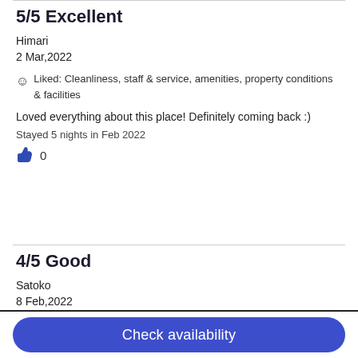5/5 Excellent
Himari
2 Mar,2022
Liked: Cleanliness, staff & service, amenities, property conditions & facilities
Loved everything about this place! Definitely coming back :)
Stayed 5 nights in Feb 2022
0
4/5 Good
Satoko
8 Feb,2022
Liked: Cleanliness, staff & service, property conditions & facilities, room comfort
Check availability